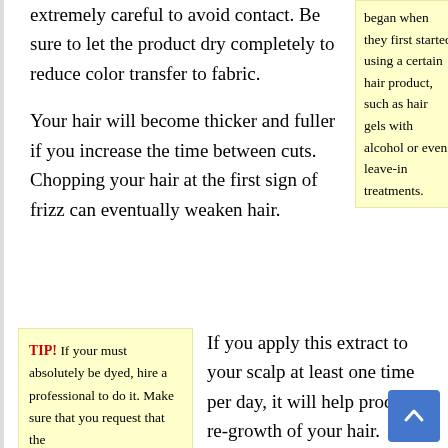extremely careful to avoid contact. Be sure to let the product dry completely to reduce color transfer to fabric.
began when they first started using a certain hair product, such as hair gels with alcohol or even leave-in treatments.
Your hair will become thicker and fuller if you increase the time between cuts. Chopping your hair at the first sign of frizz can eventually weaken hair.
TIP! If your must absolutely be dyed, hire a professional to do it. Make sure that you request that the
If you apply this extract to your scalp at least one time per day, it will help produce re-growth of your hair. Simply apply a